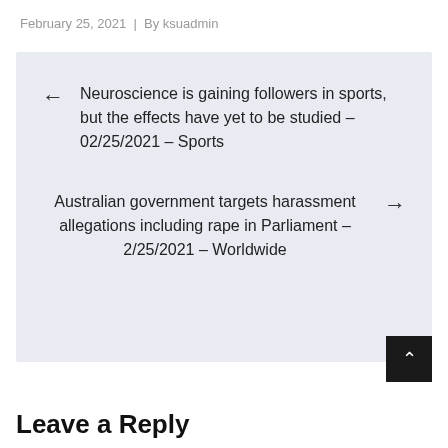February 25, 2021  |  By ksuadmin
← Neuroscience is gaining followers in sports, but the effects have yet to be studied – 02/25/2021 – Sports
Australian government targets harassment allegations including rape in Parliament – 2/25/2021 – Worldwide →
Leave a Reply